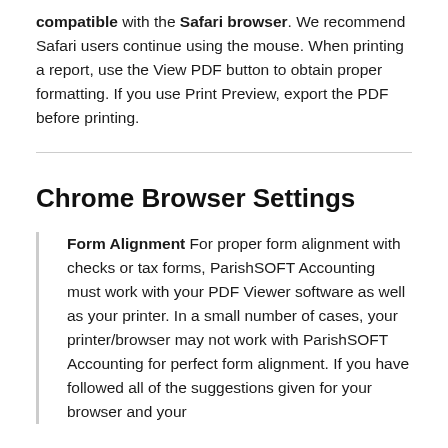compatible with the Safari browser. We recommend Safari users continue using the mouse. When printing a report, use the View PDF button to obtain proper formatting. If you use Print Preview, export the PDF before printing.
Chrome Browser Settings
Form Alignment For proper form alignment with checks or tax forms, ParishSOFT Accounting must work with your PDF Viewer software as well as your printer. In a small number of cases, your printer/browser may not work with ParishSOFT Accounting for perfect form alignment. If you have followed all of the suggestions given for your browser and your